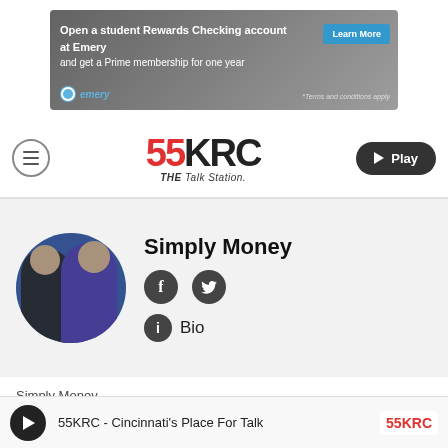[Figure (illustration): Emery Federal Credit Union advertisement banner: 'Open a student Rewards Checking account at Emery and get a Prime membership for one year' with 'Learn More' button, *Terms and conditions apply, and Emery logo]
[Figure (logo): 55KRC THE Talk Station logo with hamburger menu icon on left and Play button on right]
[Figure (photo): Simply Money show profile section with circular photo of two hosts (man in suit and woman in blue dress), show name, Facebook icon, Twitter icon, and Bio link]
Simply Money
Fad or Trend? What to ask
55KRC - Cincinnati's Place For Talk